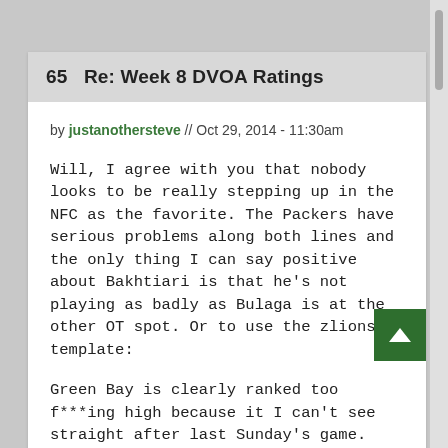65  Re: Week 8 DVOA Ratings
by justanothersteve // Oct 29, 2014 - 11:30am
Will, I agree with you that nobody looks to be really stepping up in the NFC as the favorite. The Packers have serious problems along both lines and the only thing I can say positive about Bakhtiari is that he's not playing as badly as Bulaga is at the other OT spot. Or to use the zlionsfan template:
Green Bay is clearly ranked too f***ing high because it I can't see straight after last Sunday's game. Random ameoba races are way better than this